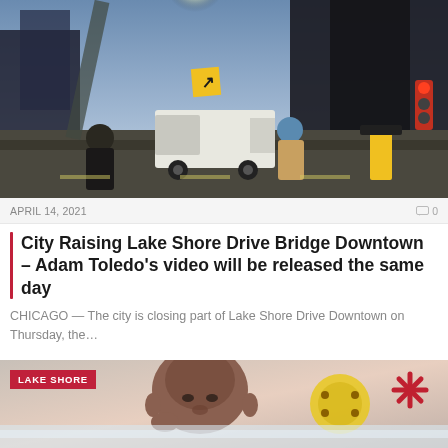[Figure (photo): Street-level photo of downtown Chicago near Lake Shore Drive bridge area, showing pedestrians, a white van, construction barriers, tall dark buildings, and bright sun glare]
APRIL 14, 2021
0
City Raising Lake Shore Drive Bridge Downtown – Adam Toledo's video will be released the same day
CHICAGO — The city is closing part of Lake Shore Drive Downtown on Thursday, the…
[Figure (photo): Close-up photo of a young Black child's face with colorful graphic elements visible in the background, with a red 'LAKE SHORE' label badge overlaid]